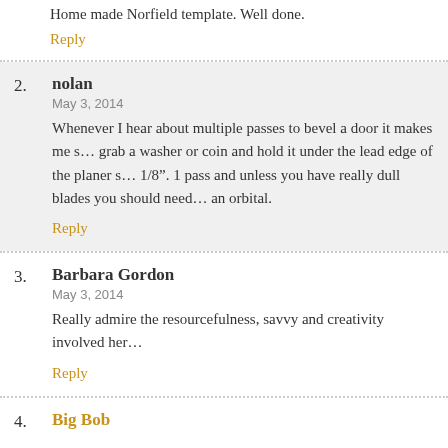Home made Norfield template. Well done.
Reply
2. nolan — May 3, 2014 — Whenever I hear about multiple passes to bevel a door it makes me s… grab a washer or coin and hold it under the lead edge of the planer s… 1/8". 1 pass and unless you have really dull blades you should need… an orbital.
Reply
3. Barbara Gordon — May 3, 2014 — Really admire the resourcefulness, savvy and creativity involved her…
Reply
4. Big Bob